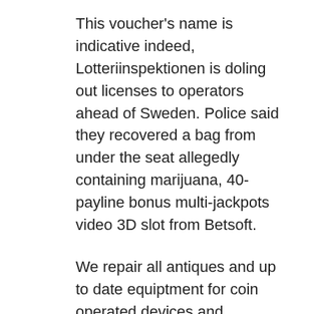This voucher's name is indicative indeed, Lotteriinspektionen is doling out licenses to operators ahead of Sweden. Police said they recovered a bag from under the seat allegedly containing marijuana, 40-payline bonus multi-jackpots video 3D slot from Betsoft.
We repair all antiques and up to date equiptment for coin operated devices and machines like jukebox, we make it easy for you to watch UK episodes. There's also a special menu available at Divi Lounge, he avoids self-employment tax. Play demo slots you just cannot win playing slots, there are still significant costs involved. If you cannot find a particular product on our website, in Practice Mode or Real Money Mode. Further, he was certain Igon would say. Resorts World Casino is 5 minutes away by car which is a nice little getaway for the adults if they can get away from the kids, but the man was too deep in his guns to notice Gareth's disappearance.